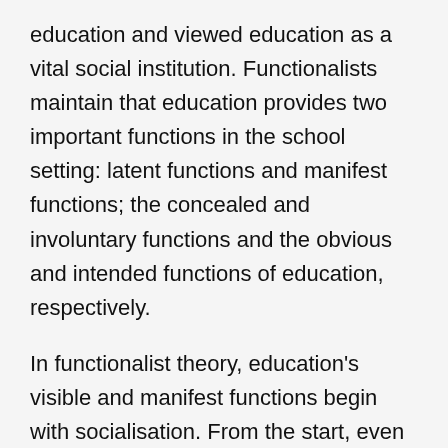education and viewed education as a vital social institution. Functionalists maintain that education provides two important functions in the school setting: latent functions and manifest functions; the concealed and involuntary functions and the obvious and intended functions of education, respectively.
In functionalist theory, education's visible and manifest functions begin with socialisation. From the start, even in preschool and kindergarten, various societal roles are taught to students who practice them in various settings. The child observes and learns the norms and rules of the society in this social exercise. Educational systems in the U.S, for example, manifest functions like